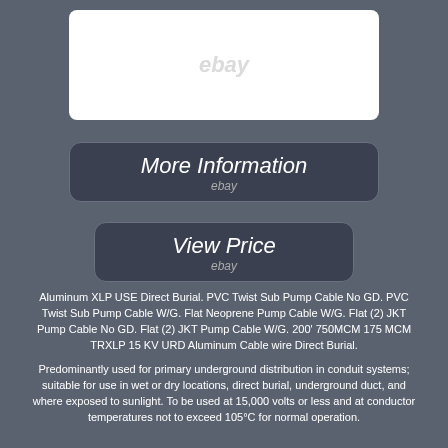[Figure (photo): White rectangle with eBay watermark on dark gray background, representing a product listing image placeholder]
[Figure (screenshot): Button labeled 'More Information' with 'ebay' subtitle on dark rounded rectangle]
[Figure (screenshot): Button labeled 'View Price' with 'ebay' subtitle on dark rounded rectangle]
Aluminum XLP USE Direct Burial. PVC Twist Sub Pump Cable No GD. PVC Twist Sub Pump Cable W/G. Flat Neoprene Pump Cable W/G. Flat (2) JKT Pump Cable No GD. Flat (2) JKT Pump Cable W/G. 200' 750MCM 175 MCM TRXLP 15 KV URD Aluminum Cable wire Direct Burial.
Predominantly used for primary underground distribution in conduit systems; suitable for use in wet or dry locations, direct burial, underground duct, and where exposed to sunlight. To be used at 15,000 volts or less and at conductor temperatures not to exceed 105°C for normal operation.